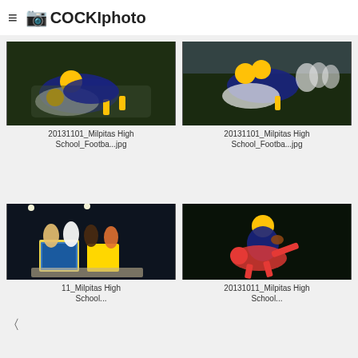≡ 📷 COCKIphoto
[Figure (photo): Football players tackling on the field, night game, yellow and dark blue uniforms]
20131101_Milpitas High School_Footba...jpg
[Figure (photo): Football players in action, night game, yellow helmets and dark blue uniforms vs white uniforms]
20131101_Milpitas High School_Footba...jpg
[Figure (photo): Homecoming parade float night scene with people in formal wear, cereal box decorations]
11_Milpitas High School...
[Figure (photo): Football player in yellow helmet catching or carrying ball while being tackled by player in red and white uniform]
20131011_Milpitas High School...